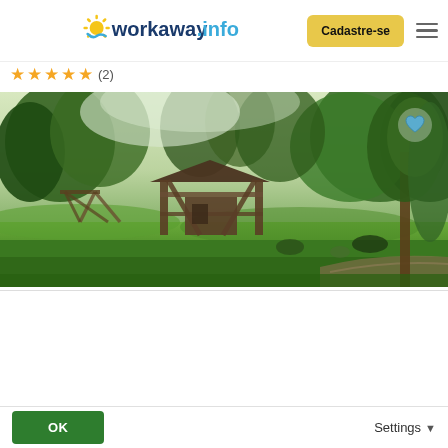[Figure (logo): Workaway.info logo with sun graphic on the left, yellow 'Cadastre-se' button and hamburger menu on the right]
★★★★★ (2)
[Figure (photo): Outdoor nature scene showing a green meadow with trees in the background, a wooden cabin/shelter structure, and various garden features under soft daylight. A heart/favorite icon is in the top-right corner of the photo.]
This website uses cookies
Like most sites, Workaway uses cookies to help improve the website's usability. Cookies providing anonymous info help us to analyse site use as well as improve content and present social media features.  You consent to our cookies if you continue to use our website.
OK
Settings ▾